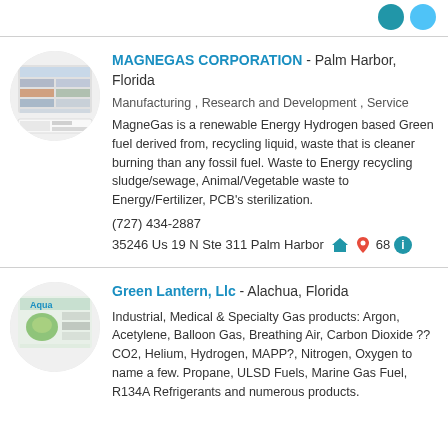[Figure (logo): Circular company logo for MagneGas Corporation showing website screenshot thumbnails]
MAGNEGAS CORPORATION - Palm Harbor, Florida
Manufacturing , Research and Development , Service
MagneGas is a renewable Energy Hydrogen based Green fuel derived from, recycling liquid, waste that is cleaner burning than any fossil fuel. Waste to Energy recycling sludge/sewage, Animal/Vegetable waste to Energy/Fertilizer, PCB's sterilization.
(727) 434-2887
35246 Us 19 N Ste 311 Palm Harbor FL 068
[Figure (logo): Circular company logo for Green Lantern LLC showing Aqua product images]
Green Lantern, Llc - Alachua, Florida
Industrial, Medical & Specialty Gas products: Argon, Acetylene, Balloon Gas, Breathing Air, Carbon Dioxide ??CO2, Helium, Hydrogen, MAPP?, Nitrogen, Oxygen to name a few. Propane, ULSD Fuels, Marine Gas Fuel, R134A Refrigerants and numerous products.